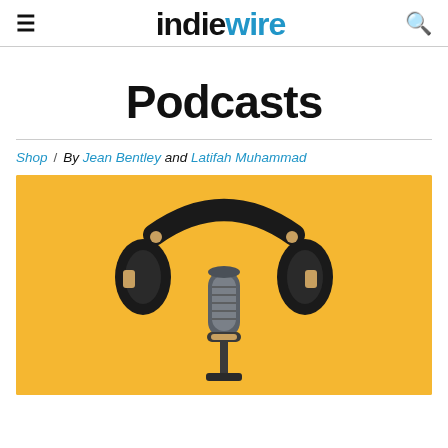IndieWire
Podcasts
Shop / By Jean Bentley and Latifah Muhammad
[Figure (photo): Headphones and a studio microphone on a yellow/golden background]